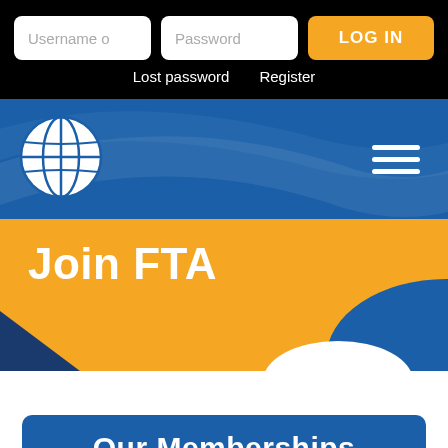Username o
Password
LOG IN
Lost password   Register
[Figure (logo): FTA globe logo — white globe with grid lines on blue background]
[Figure (illustration): Hamburger menu icon — three white horizontal lines]
Join FTA
Our Memberships